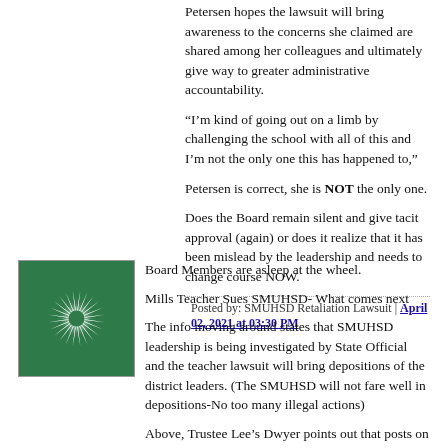Petersen hopes the lawsuit will bring awareness to the concerns she claimed are shared among her colleagues and ultimately give way to greater administrative accountability.
“I’m kind of going out on a limb by challenging the school with all of this and I’m not the only one this has happened to,”
Petersen is correct, she is NOT the only one.
Does the Board remain silent and give tacit approval (again) or does it realize that it has been mislead by the leadership and needs to change course NOW.
Posted by: SMUHSD Retaliation Lawsuit | April 02, 2021 at 03:30 PM
[Figure (illustration): Green circular starburst/sunburst avatar icon with white spiky rays on green background]
Board Members are asleep at the wheel.
Mills Teacher Sues SMUHSD- What comes next
The info moving around states that SMUHSD leadership is being investigated by State Official and the teacher lawsuit will bring depositions of the district leaders. (The SMUHSD will not fare well in depositions-No too many illegal actions)
Above, Trustee Lee’s Dwyer points out that posts on the BV claim facts that are not true. Others claim the facts are real,